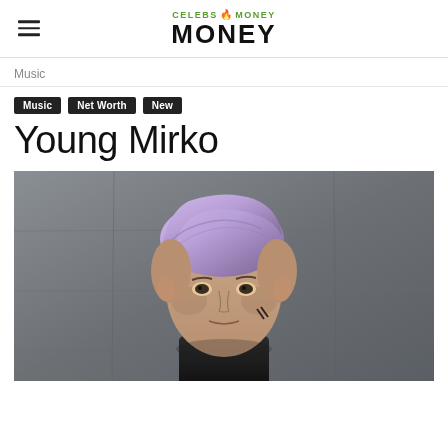CELEBS$ MONEY
Music
Music  Net Worth  New
Young Mirko
[Figure (photo): Portrait photo of Young Mirko, a young man with lavender/purple hair, wearing dark clothing, with tattoo marks on his face, photographed against a concrete wall background.]